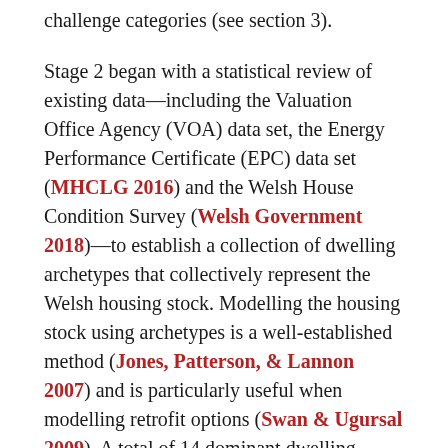challenge categories (see section 3).
Stage 2 began with a statistical review of existing data—including the Valuation Office Agency (VOA) data set, the Energy Performance Certificate (EPC) data set (MHCLG 2016) and the Welsh House Condition Survey (Welsh Government 2018)—to establish a collection of dwelling archetypes that collectively represent the Welsh housing stock. Modelling the housing stock using archetypes is a well-established method (Jones, Patterson, & Lannon 2007) and is particularly useful when modelling retrofit options (Swan & Ugursal 2009). A total of 14 dominant dwelling archetypes were identified and modelled using a Standard Assessment Procedure (SAP) (BRE 1998) (see section 4). These models were used to simulate the Welsh housing stock